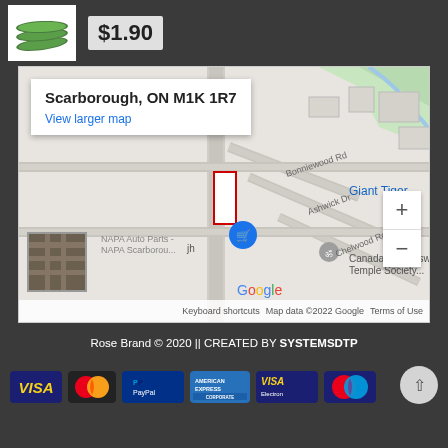[Figure (photo): Product image of cucumbers with price tag $1.90]
$1.90
[Figure (map): Google Maps showing Scarborough, ON M1K 1R7 with street view of the area including NAPA Auto Parts, Canada Kanthaswa Temple Society, Giant Tiger, and various roads including Bonniewood Rd, Ashwick Dr, Chelwood Rd]
Scarborough, ON M1K 1R7
View larger map
Keyboard shortcuts  Map data ©2022 Google  Terms of Use
Rose Brand © 2020 || CREATED BY SYSTEMSDTP
[Figure (logo): Payment method logos: VISA, MasterCard, PayPal, American Express, VISA Electron, Maestro]